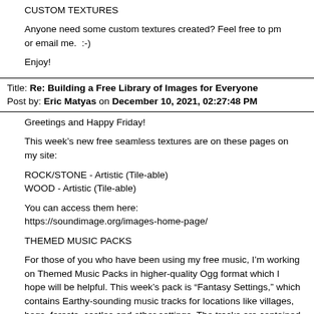CUSTOM TEXTURES
Anyone need some custom textures created? Feel free to pm or email me.  :-)
Enjoy!
Title: Re: Building a Free Library of Images for Everyone
Post by: Eric Matyas on December 10, 2021, 02:27:48 PM
Greetings and Happy Friday!
This week’s new free seamless textures are on these pages on my site:
ROCK/STONE - Artistic (Tile-able)
WOOD - Artistic (Tile-able)
You can access them here:
https://soundimage.org/images-home-page/
THEMED MUSIC PACKS
For those of you who have been using my free music, I’m working on Themed Music Packs in higher-quality Ogg format which I hope will be helpful. This week’s pack is "Fantasy Settings," which contains Earthy-sounding music tracks for locations like villages, bogs, forests, castles and other settings. The tracks are contained in a Zip folder so they can be